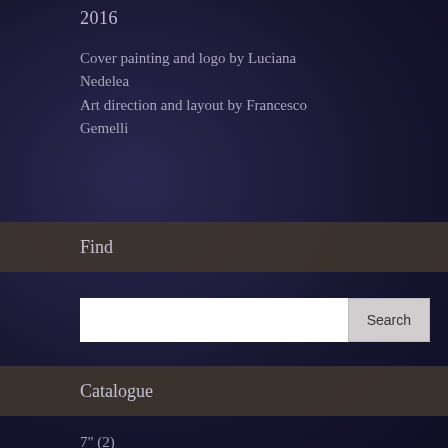2016
Cover painting and logo by Luciana Nedelea
Art direction and layout by Francesco Gemelli
Find
Search
Catalogue
7" (2)
CD (116)